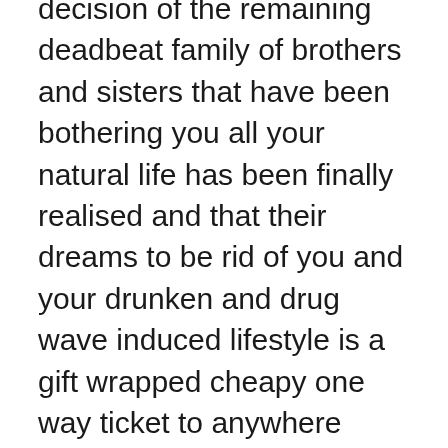decision of the remaining deadbeat family of brothers and sisters that have been bothering you all your natural life has been finally realised and that their dreams to be rid of you and your drunken and drug wave induced lifestyle is a gift wrapped cheapy one way ticket to anywhere beyond and including Sumatra.'
Cracker Thomas is over from Maroubra for a few beers on Boxing Day and all I can do is listen to his bullshit and lament the passing of a time when surfing wasn't a mainstream lifestyle obsessively localised by late arriving and deeply monied new locals who owe it all to their parents and the lack of death duties and if you're wondering about this then visit the northern beaches. The ratio of tradies to tie wearers is down to 5:100 – Be nice to see two utes parked together at Avalon one day.